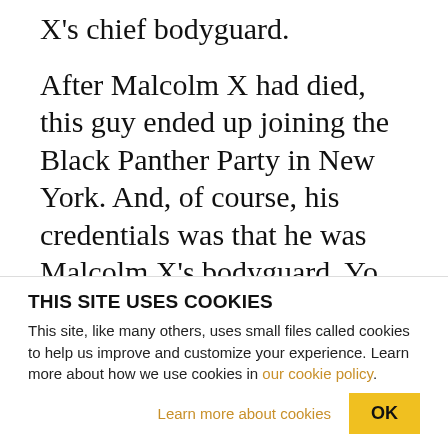X's chief bodyguard.
After Malcolm X had died, this guy ended up joining the Black Panther Party in New York. And, of course, his credentials was that he was Malcolm X's bodyguard. Yo, who else could you trust? You've got to trust Malcolm X's bodyguard, right? He joined the Black Panther Party, and he incited a conspiracy that the leadership of the Black Panther Party in New York never participated in. But they used his incitement and they locked up as leaders of the New…
THIS SITE USES COOKIES
This site, like many others, uses small files called cookies to help us improve and customize your experience. Learn more about how we use cookies in our cookie policy.
Learn more about cookies
OK